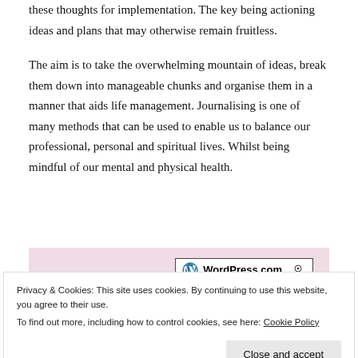these thoughts for implementation. The key being actioning ideas and plans that may otherwise remain fruitless.
The aim is to take the overwhelming mountain of ideas, break them down into manageable chunks and organise them in a manner that aids life management. Journalising is one of many methods that can be used to enable us to balance our professional, personal and spiritual lives. Whilst being mindful of our mental and physical health.
[Figure (screenshot): WordPress.com banner with pink background showing WordPress.com logo and text in a bordered box with a pin icon]
Privacy & Cookies: This site uses cookies. By continuing to use this website, you agree to their use.
To find out more, including how to control cookies, see here: Cookie Policy